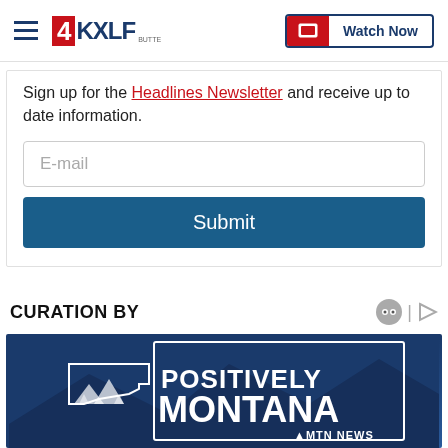4KXLF Butte | Watch Now
Sign up for the Headlines Newsletter and receive up to date information.
E-mail
Submit
CURATION BY
[Figure (logo): Positively Montana MTN News logo on dark blue background with mountain silhouette]